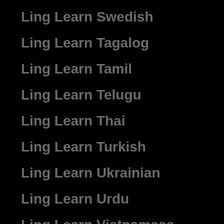Ling Learn Swedish
Ling Learn Tagalog
Ling Learn Tamil
Ling Learn Telugu
Ling Learn Thai
Ling Learn Turkish
Ling Learn Ukrainian
Ling Learn Urdu
Ling Learn Vietnamese